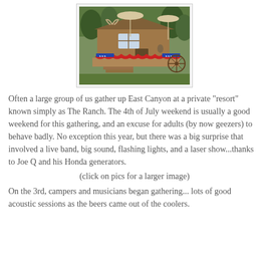[Figure (photo): A rustic log cabin/ranch building decorated with red, white and blue patriotic bunting, with patio umbrellas and a wooden wagon wheel visible, surrounded by trees and grass.]
Often a large group of us gather up East Canyon at a private "resort" known simply as The Ranch. The 4th of July weekend is usually a good weekend for this gathering, and an excuse for adults (by now geezers) to behave badly. No exception this year, but there was a big surprise that involved a live band, big sound, flashing lights, and a laser show...thanks to Joe Q and his Honda generators.
(click on pics for a larger image)
On the 3rd, campers and musicians began gathering... lots of good acoustic sessions as the beers came out of the coolers.